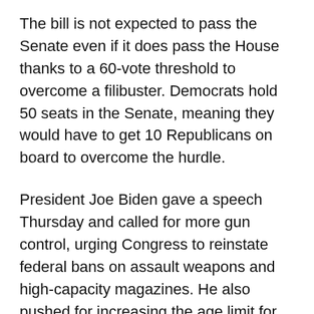The bill is not expected to pass the Senate even if it does pass the House thanks to a 60-vote threshold to overcome a filibuster. Democrats hold 50 seats in the Senate, meaning they would have to get 10 Republicans on board to overcome the hurdle.
President Joe Biden gave a speech Thursday and called for more gun control, urging Congress to reinstate federal bans on assault weapons and high-capacity magazines. He also pushed for increasing the age limit for someone wanting to purchase a gun and expanding background